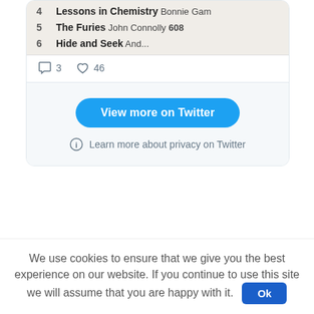[Figure (screenshot): Partial Twitter embed card showing a cropped book list image with items 4-6 (Lessons in Chemistry by Bonnie Gam[us], The Furies by John Connolly 608, Hide and Seek by And...), reply count 3 and like count 46, a 'View more on Twitter' button, and a privacy info link.]
We use cookies to ensure that we give you the best experience on our website. If you continue to use this site we will assume that you are happy with it. Ok